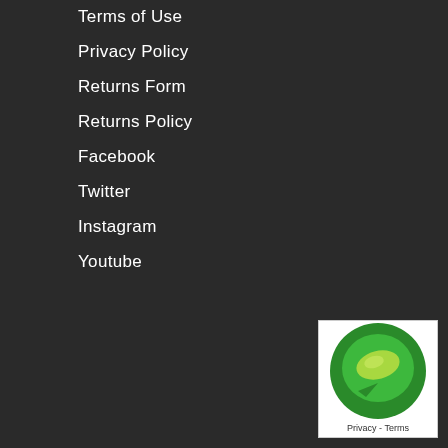Terms of Use
Privacy Policy
Returns Form
Returns Policy
Facebook
Twitter
Instagram
Youtube
[Figure (logo): Green circular logo with a leaf/speech bubble icon, labeled Privacy - Terms]